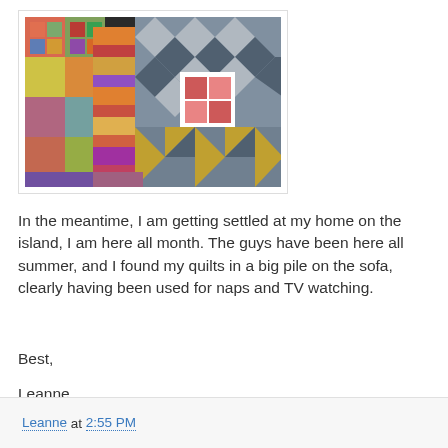[Figure (photo): A pile of quilts draped over a sofa, showing colorful patchwork and geometric quilt patterns in various colors including blues, greens, reds, and neutrals.]
In the meantime, I am getting settled at my home on the island, I am here all month. The guys have been here all summer, and I found my quilts in a big pile on the sofa, clearly having been used for naps and TV watching.
Best,
Leanne
Leanne at 2:55 PM